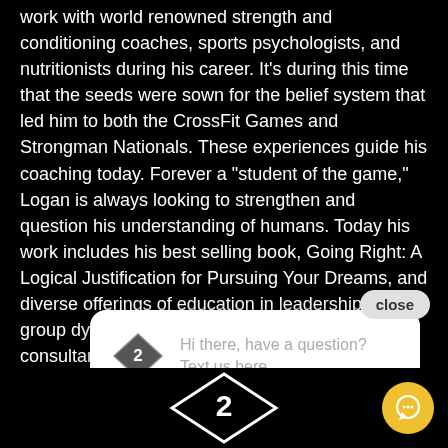work with world renowned strength and conditioning coaches, sports psychologists, and nutritionists during his career. It's during this time that the seeds were sown for the belief system that led him to both the CrossFit Games and Strongman Nationals. These experiences guide his coaching today. Forever a "student of the game," Logan is always looking to strengthen and question his understanding of humans. Today his work includes his best selling book, Going Right: A Logical Justification for Pursuing Your Dreams, and diverse offerings of education in leadership and group dyn[amics] via the 'Hold the[...] and consultanc[y]...
[Figure (screenshot): Chat bubble popup with diamond logo and text 'Hi there, have a question? Text us here.' with a close button]
[Figure (logo): Diamond shape logo with number 2 inside, white outline on black background]